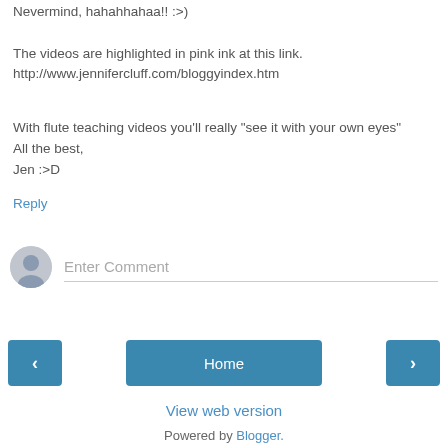Nevermind, hahahhahaa!! :>)
The videos are highlighted in pink ink at this link.
http://www.jennifercluff.com/bloggyindex.htm
With flute teaching videos you'll really "see it with your own eyes"
All the best,
Jen :>D
Reply
[Figure (other): Comment input area with user avatar icon and Enter Comment placeholder text field]
[Figure (other): Navigation buttons: left arrow, Home button, right arrow]
View web version
Powered by Blogger.